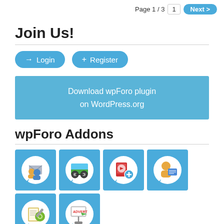Page 1 / 3  1  Next >
Join Us!
→ Login   + Register
Download wpForo plugin on WordPress.org
wpForo Addons
[Figure (illustration): Six addon icon tiles in a grid on blue backgrounds, each with a circular white icon depicting different forum plugin features: users/mail, video/film, media attach, user profile, settings/notebook, and advertising billboard.]